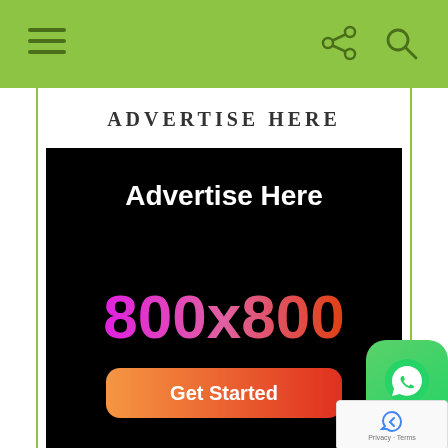ADVERTISE HERE
[Figure (illustration): Black advertisement banner showing 'Advertise Here' in white text and '800x800' in gradient magenta-to-orange text, with a 'Get Started' button at the bottom in orange-red gradient.]
[Figure (logo): WhatsApp icon in green rounded square button]
[Figure (other): Google reCAPTCHA widget with Privacy and Terms links]